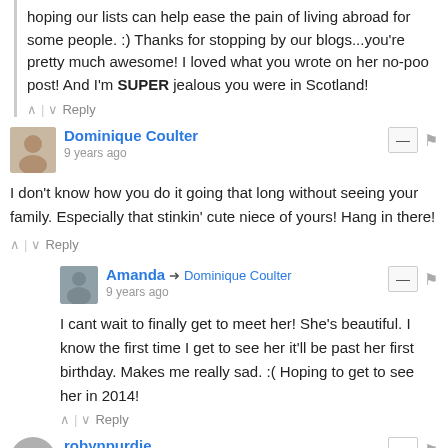hoping our lists can help ease the pain of living abroad for some people. :) Thanks for stopping by our blogs...you're pretty much awesome! I loved what you wrote on her no-poo post! And I'm SUPER jealous you were in Scotland!
^ | v Reply
Dominique Coulter
9 years ago
I don't know how you do it going that long without seeing your family. Especially that stinkin' cute niece of yours! Hang in there!
^ | v Reply
Amanda → Dominique Coulter
9 years ago
I cant wait to finally get to meet her! She's beautiful. I know the first time I get to see her it'll be past her first birthday. Makes me really sad. :( Hoping to get to see her in 2014!
^ | v Reply
robynpurdie
9 years ago
Ah... The document thing.. Yes.. We all learn, just like always have